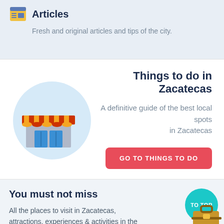Articles
Fresh and original articles and tips of the city.
Things to do in Zacatecas
A definitive guide of the best local spots in Zacatecas
[Figure (illustration): Store/shop illustration with orange-yellow striped awning and blue doors on a light blue circle background]
GO TO THINGS TO DO
You must not miss
All the places to visit in Zacatecas, attractions, experiences & activities in the
[Figure (illustration): Teal/turquoise circular TO TOP button]
[Figure (illustration): Luggage/suitcase icon in brown and tan colors at bottom right]